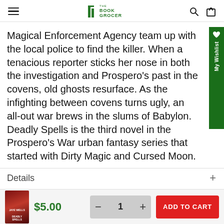The Book Grocer
Magical Enforcement Agency team up with the local police to find the killer. When a tenacious reporter sticks her nose in both the investigation and Prospero's past in the covens, old ghosts resurface. As the infighting between covens turns ugly, an all-out war brews in the slums of Babylon. Deadly Spells is the third novel in the Prospero's War urban fantasy series that started with Dirty Magic and Cursed Moon.
Details
$5.00
ADD TO CART